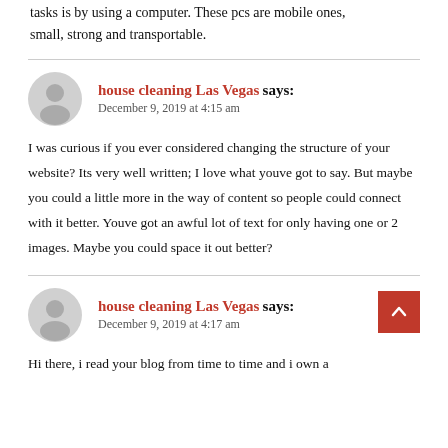tasks is by using a computer. These pcs are mobile ones, small, strong and transportable.
house cleaning Las Vegas says:
December 9, 2019 at 4:15 am

I was curious if you ever considered changing the structure of your website? Its very well written; I love what youve got to say. But maybe you could a little more in the way of content so people could connect with it better. Youve got an awful lot of text for only having one or 2 images. Maybe you could space it out better?
house cleaning Las Vegas says:
December 9, 2019 at 4:17 am

Hi there, i read your blog from time to time and i own a